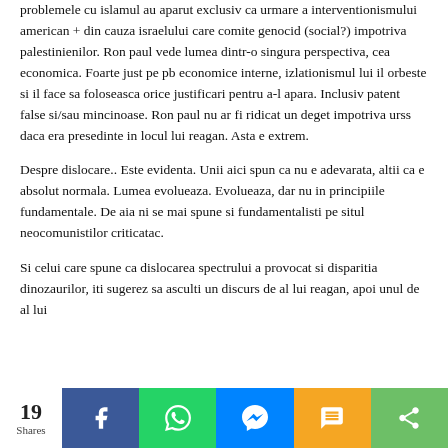problemele cu islamul au aparut exclusiv ca urmare a interventionismului american + din cauza israelului care comite genocid (social?) impotriva palestinienilor. Ron paul vede lumea dintr-o singura perspectiva, cea economica. Foarte just pe pb economice interne, izlationismul lui il orbeste si il face sa foloseasca orice justificari pentru a-l apara. Inclusiv patent false si/sau mincinoase. Ron paul nu ar fi ridicat un deget impotriva urss daca era presedinte in locul lui reagan. Asta e extrem.
Despre dislocare.. Este evidenta. Unii aici spun ca nu e adevarata, altii ca e absolut normala. Lumea evolueaza. Evolueaza, dar nu in principiile fundamentale. De aia ni se mai spune si fundamentalisti pe situl neocomunistilor criticatac.
Si celui care spune ca dislocarea spectrului a provocat si disparitia dinozaurilor, iti sugerez sa asculti un discurs de al lui reagan, apoi unul de al lui